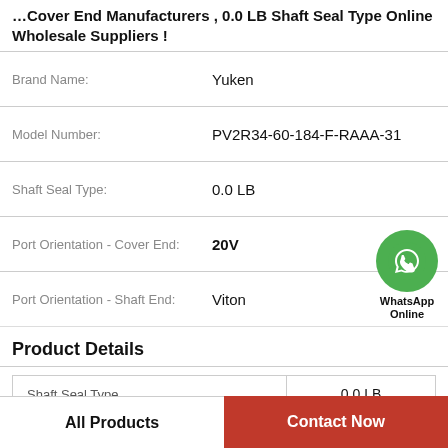Cover End Manufacturers, 0.0 LB Shaft Seal Type Online Wholesale Suppliers !
| Property | Value |
| --- | --- |
| Brand Name: | Yuken |
| Model Number: | PV2R34-60-184-F-RAAA-31 |
| Shaft Seal Type: | 0.0 LB |
| Port Orientation - Cover End: | 20V |
| Port Orientation - Shaft End: | Viton |
Product Details
| Property | Value |
| --- | --- |
| Shaft Seal Type | 0.0 LB |
| Port Orientation - Cover End | 20V |
[Figure (logo): WhatsApp Online contact badge with green phone icon circle and text 'WhatsApp Online']